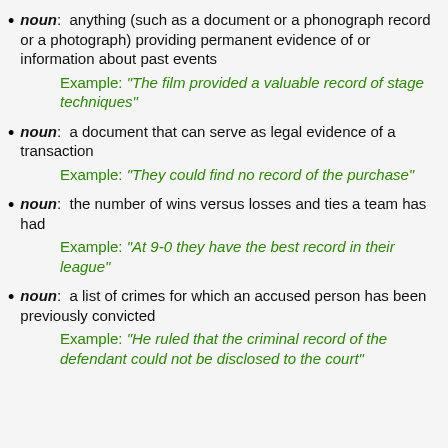noun: anything (such as a document or a phonograph record or a photograph) providing permanent evidence of or information about past events
Example: "The film provided a valuable record of stage techniques"
noun: a document that can serve as legal evidence of a transaction
Example: "They could find no record of the purchase"
noun: the number of wins versus losses and ties a team has had
Example: "At 9-0 they have the best record in their league"
noun: a list of crimes for which an accused person has been previously convicted
Example: "He ruled that the criminal record of the defendant could not be disclosed to the court"